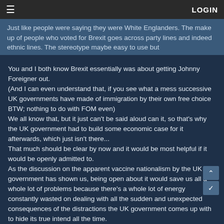≡  LOGIN
Just like people were saying they were White Englanders. The make up of people who voted for Brexit goes across party lines and indeed ethnic lines. The stereotype maybe easy to use but
You and I both know Brexit essentially was about getting Johnny Foreigner out.
(And I can even understand that, if you see what a mess successive UK governments have made of immigration by their own free choice BTW; nothing to do with FOM even)
We all know that, but it just can't be said aloud can it, so that's why the UK government had to build some economic case for it afterwards, which just isn't there...
That much should be clear by now and it would be most helpful if it would be openly admitted to.
As the discussion on the apparent vaccine nationalism by the UK government has shown us, being open about it would save us all a whole lot of problems because there's a whole lot of energy constantly wasted on dealing with all the sudden and unexpected consequences of the distractions the UK government comes up with to hide its true intend all the time.
But no matter how many times BoJo refers to the EU or 'our friends and allies on the Continent', masks have come off this week and the eyes of